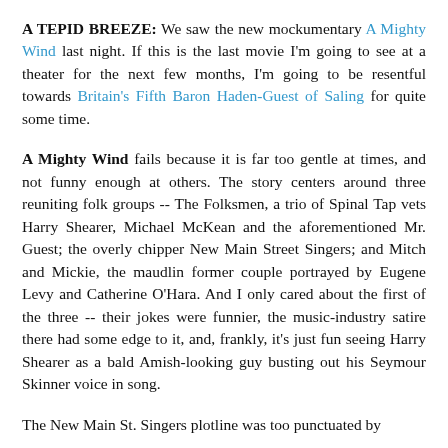A TEPID BREEZE: We saw the new mockumentary A Mighty Wind last night. If this is the last movie I'm going to see at a theater for the next few months, I'm going to be resentful towards Britain's Fifth Baron Haden-Guest of Saling for quite some time.
A Mighty Wind fails because it is far too gentle at times, and not funny enough at others. The story centers around three reuniting folk groups -- The Folksmen, a trio of Spinal Tap vets Harry Shearer, Michael McKean and the aforementioned Mr. Guest; the overly chipper New Main Street Singers; and Mitch and Mickie, the maudlin former couple portrayed by Eugene Levy and Catherine O'Hara. And I only cared about the first of the three -- their jokes were funnier, the music-industry satire there had some edge to it, and, frankly, it's just fun seeing Harry Shearer as a bald Amish-looking guy busting out his Seymour Skinner voice in song.
The New Main St. Singers plotline was too punctuated by